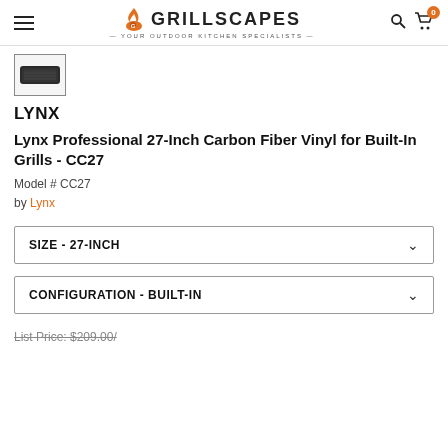GRILLSCAPES - YOUR OUTDOOR KITCHEN SPECIALISTS
[Figure (photo): Small thumbnail image of a dark carbon fiber grill cover]
LYNX
Lynx Professional 27-Inch Carbon Fiber Vinyl for Built-In Grills - CC27
Model # CC27
by Lynx
SIZE - 27-INCH
CONFIGURATION - BUILT-IN
List Price: $209.00/